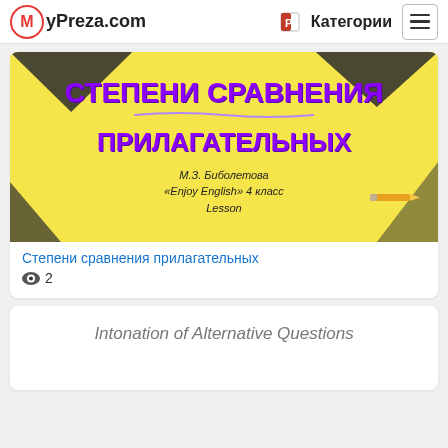MyPreza.com  Категории
[Figure (screenshot): Presentation thumbnail showing 'Степени сравнения прилагательных' in purple bold text on yellow background, with subtitle М.З. Биболетова «Enjoy English» 4 класс Lesson]
Степени сравнения прилагательных
👁 2
Intonation of Alternative Questions